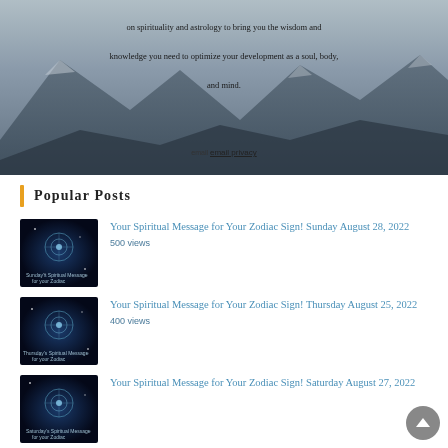[Figure (photo): Mountain landscape photo with dark rocky terrain, overlaid with centered text about spirituality and astrology]
on spirituality and astrology to bring you the wisdom and knowledge you need to optimize your development as a soul, body, and mind.
email privacy
Popular Posts
[Figure (photo): Thumbnail image for Sunday August 28 2022 zodiac spiritual message post - dark blue cosmic background with zodiac symbol]
Your Spiritual Message for Your Zodiac Sign! Sunday August 28, 2022
500 views
[Figure (photo): Thumbnail image for Thursday August 25 2022 zodiac spiritual message post - dark blue cosmic background]
Your Spiritual Message for Your Zodiac Sign! Thursday August 25, 2022
400 views
[Figure (photo): Thumbnail image for Saturday August 27 2022 zodiac spiritual message post - dark blue cosmic background]
Your Spiritual Message for Your Zodiac Sign! Saturday August 27, 2022